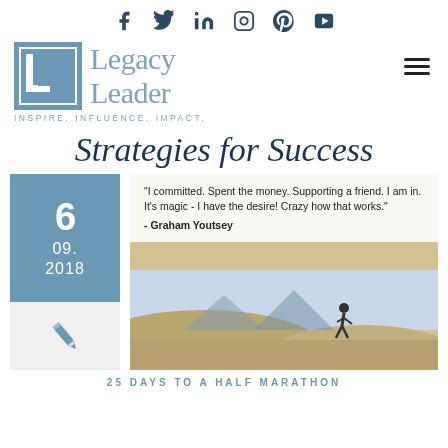[Figure (logo): Social media icons row: Facebook, Twitter, LinkedIn, Instagram, Pinterest, YouTube]
[Figure (logo): Legacy Leader logo with tagline INSPIRE. INFLUENCE. IMPACT.]
Strategies for Success
[Figure (infographic): Date block showing 6 / 09. / 2018 in blue, with pen/author icon below, next to a quote image: '"I committed. Spent the money. Supporting a friend. I am in. It's magic - I have the desire! Crazy how that works." - Graham Youtsey' overlaid on a photo of a runner]
25 DAYS TO A HALF MARATHON